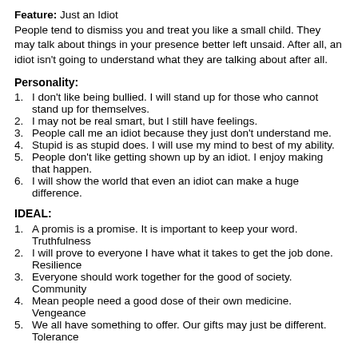Feature: Just an Idiot
People tend to dismiss you and treat you like a small child. They may talk about things in your presence better left unsaid. After all, an idiot isn't going to understand what they are talking about after all.
Personality:
1. I don't like being bullied. I will stand up for those who cannot stand up for themselves.
2. I may not be real smart, but I still have feelings.
3. People call me an idiot because they just don't understand me.
4. Stupid is as stupid does. I will use my mind to best of my ability.
5. People don't like getting shown up by an idiot. I enjoy making that happen.
6. I will show the world that even an idiot can make a huge difference.
IDEAL:
1. A promis is a promise. It is important to keep your word. Truthfulness
2. I will prove to everyone I have what it takes to get the job done. Resilience
3. Everyone should work together for the good of society. Community
4. Mean people need a good dose of their own medicine. Vengeance
5. We all have something to offer. Our gifts may just be different. Tolerance